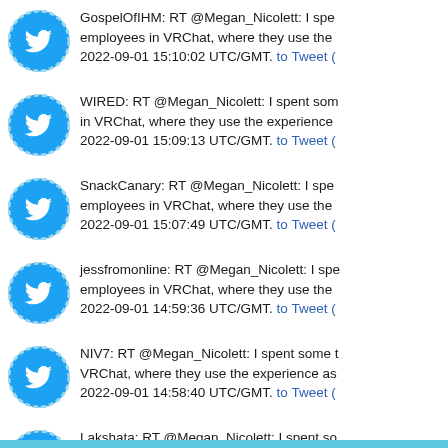GospelOfIHM: RT @Megan_Nicolett: I spent some time with employees in VRChat, where they use the experience... 2022-09-01 15:10:02 UTC/GMT. to Tweet (
WIRED: RT @Megan_Nicolett: I spent some time with employees in VRChat, where they use the experience... 2022-09-01 15:09:13 UTC/GMT. to Tweet (
SnackCanary: RT @Megan_Nicolett: I spent some time with employees in VRChat, where they use the experience... 2022-09-01 15:07:49 UTC/GMT. to Tweet (
jessfromonline: RT @Megan_Nicolett: I spent some time with employees in VRChat, where they use the experience... 2022-09-01 14:59:36 UTC/GMT. to Tweet (
NIV7: RT @Megan_Nicolett: I spent some time with employees in VRChat, where they use the experience as... 2022-09-01 14:58:40 UTC/GMT. to Tweet (
Lakshata: RT @Megan_Nicolett: I spent some time with employees in VRChat, where they use the experience... 2022-09-01 14:58:37 UTC/GMT. to Tweet (